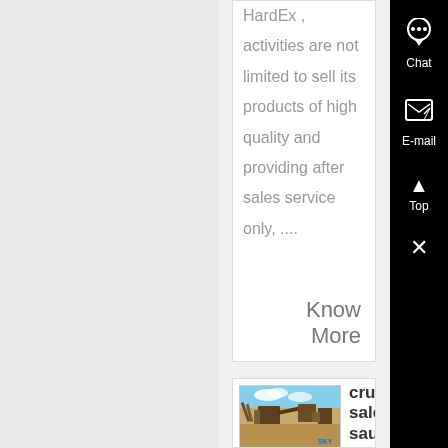HardEx , activities are not limited to sell its products of high quality and providing after sales service only, ....
Know More
[Figure (photo): Outdoor photo of a mining crusher installation with machinery on sandy ground under a blue sky. SKY logo watermark visible.]
crusher sales in saudi | Mining & World